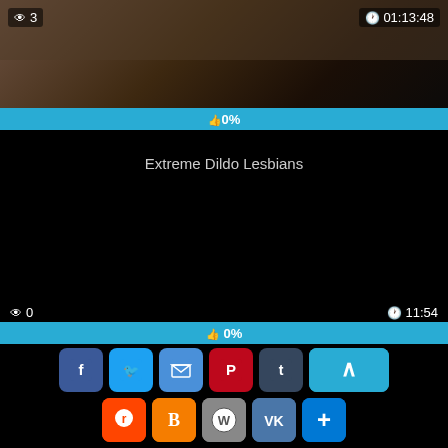[Figure (screenshot): Video thumbnail showing partial figure, dark tones]
👁 3   🕐 01:13:48
👍 0%
Extreme Dildo Lesbians
👁 0   🕐 11:54
0%
[Figure (screenshot): Social sharing buttons: Facebook, Twitter, Email, Pinterest, Tumblr, scroll-up, Reddit, Blogger, WordPress, VK, More]